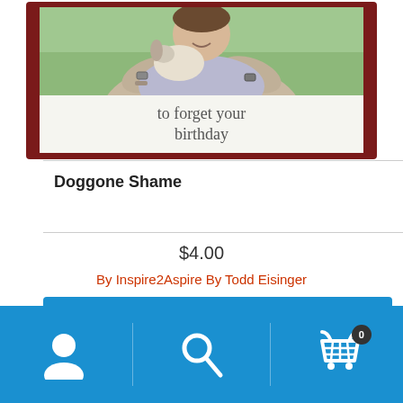[Figure (screenshot): Product image of a birthday greeting card showing a person holding a dog with text 'to forget your birthday' in handwriting style, displayed on a dark red wood-frame background]
Doggone Shame
$4.00
By Inspire2Aspire By Todd Eisinger
Add to cart
[Figure (screenshot): Bottom navigation bar with user icon, search icon, and shopping cart icon with badge showing 0]